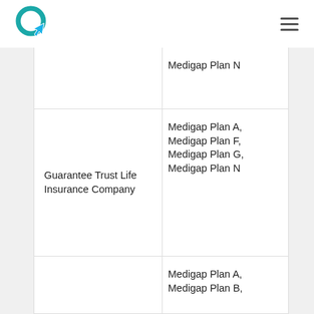Logo and navigation header
| Company | Plans Available |
| --- | --- |
|  | Medigap Plan N |
| Guarantee Trust Life Insurance Company | Medigap Plan A, Medigap Plan F, Medigap Plan G, Medigap Plan N |
|  | Medigap Plan A, Medigap Plan B, |